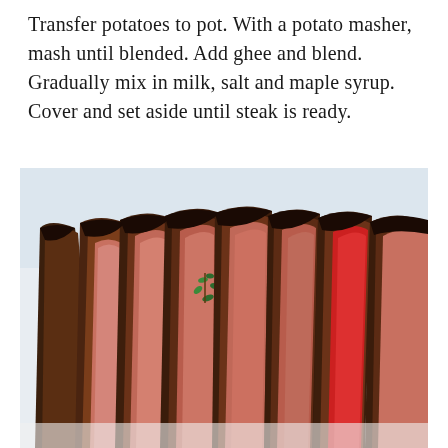Transfer potatoes to pot. With a potato masher, mash until blended. Add ghee and blend. Gradually mix in milk, salt and maple syrup. Cover and set aside until steak is ready.
[Figure (photo): A close-up photo of sliced grilled steak fanned out on a white surface, showing charred exterior and pink-red medium-rare interior, garnished with a small sprig of fresh thyme in the center.]